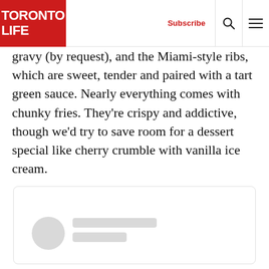Toronto Life — Subscribe
gravy (by request), and the Miami-style ribs, which are sweet, tender and paired with a tart green sauce. Nearly everything comes with chunky fries. They're crispy and addictive, though we'd try to save room for a dessert special like cherry crumble with vanilla ice cream.
[Figure (other): Loading placeholder card with circular avatar placeholder and two grey text line placeholders]